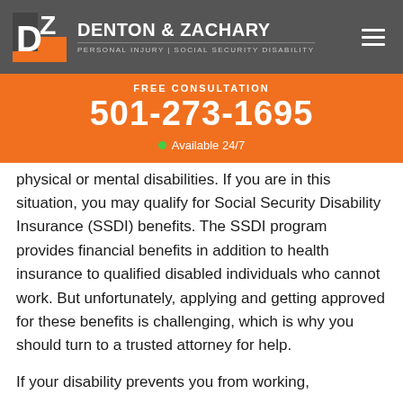DENTON & ZACHARY | PERSONAL INJURY | SOCIAL SECURITY DISABILITY
FREE CONSULTATION
501-273-1695
• Available 24/7
physical or mental disabilities. If you are in this situation, you may qualify for Social Security Disability Insurance (SSDI) benefits. The SSDI program provides financial benefits in addition to health insurance to qualified disabled individuals who cannot work. But unfortunately, applying and getting approved for these benefits is challenging, which is why you should turn to a trusted attorney for help.
If your disability prevents you from working,